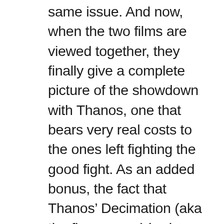same issue. And now, when the two films are viewed together, they finally give a complete picture of the showdown with Thanos, one that bears very real costs to the ones left fighting the good fight. As an added bonus, the fact that Thanos' Decimation (aka the finger snap) had removed half the superhero roster is actually a good thing, simply because there are less characters to split the narrative over, which was one of the issues that plagued Infinity War.